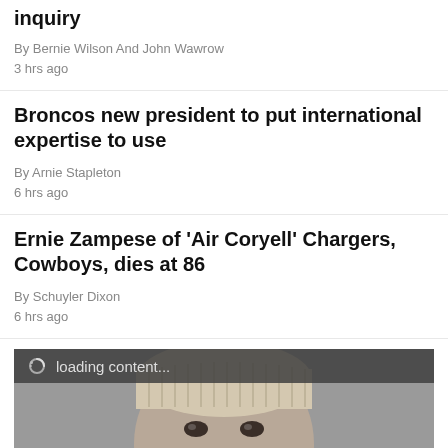inquiry
By Bernie Wilson And John Wawrow
3 hrs ago
Broncos new president to put international expertise to use
By Arnie Stapleton
6 hrs ago
Ernie Zampese of 'Air Coryell' Chargers, Cowboys, dies at 86
By Schuyler Dixon
6 hrs ago
[Figure (photo): Person wearing a knit hat and face mask, with overlay text 'RELIABLE INFORMA...' and a loading content bar at top]